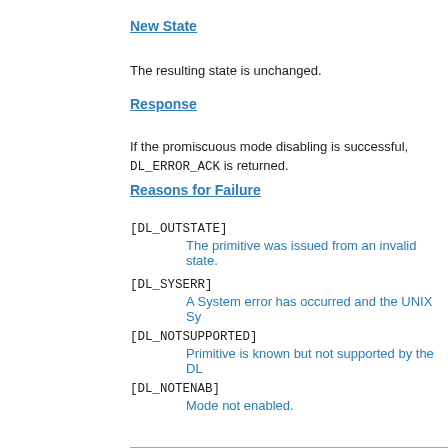New State
The resulting state is unchanged.
Response
If the promiscuous mode disabling is successful, DL_ERROR_ACK is returned.
Reasons for Failure
[DL_OUTSTATE]
    The primitive was issued from an invalid state.
[DL_SYSERR]
    A System error has occurred and the UNIX Sy...
[DL_NOTSUPPORTED]
    Primitive is known but not supported by the DL...
[DL_NOTENAB]
    Mode not enabled.